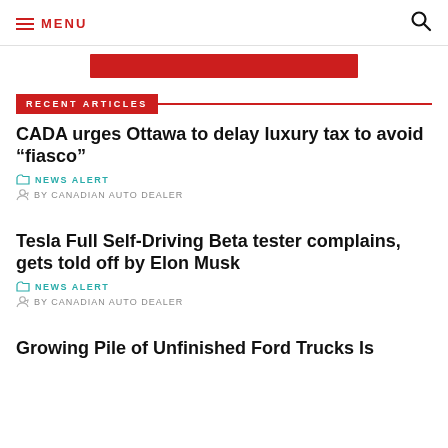MENU
[Figure (other): Red advertisement banner]
RECENT ARTICLES
CADA urges Ottawa to delay luxury tax to avoid “fiasco”
NEWS ALERT
BY CANADIAN AUTO DEALER
Tesla Full Self-Driving Beta tester complains, gets told off by Elon Musk
NEWS ALERT
BY CANADIAN AUTO DEALER
Growing Pile of Unfinished Ford Trucks Is